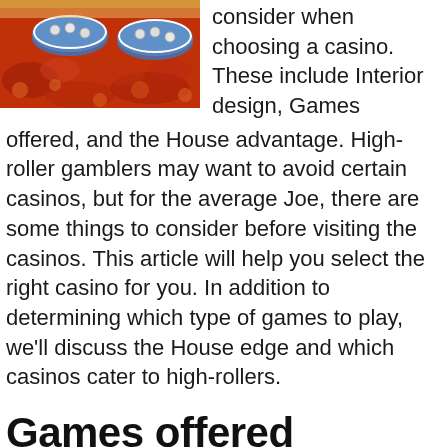[Figure (photo): Casino interior photo showing colorful red patterned carpet and round gaming tables with blue/white decorations from an overhead-ish angle.]
consider when choosing a casino. These include Interior design, Games offered, and the House advantage. High-roller gamblers may want to avoid certain casinos, but for the average Joe, there are some things to consider before visiting the casinos. This article will help you select the right casino for you. In addition to determining which type of games to play, we'll discuss the House edge and which casinos cater to high-rollers.
Games offered
There are several types of games offered at a casino, from the standard table and card games to more modern versions like video poker and scratch cards. While most games at a casino can be played for fun,